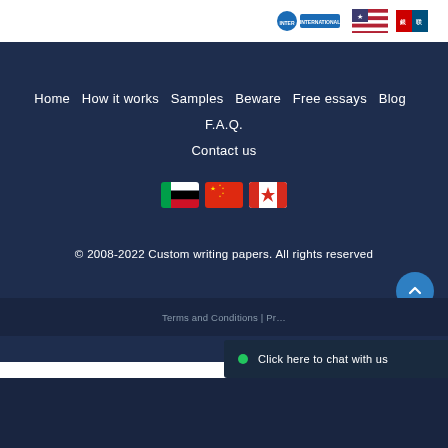[Figure (logo): Top bar with payment/partner logos including a blue international logo, US flag icon, and UnionPay logo]
Home   How it works   Samples   Beware   Free essays   Blog   F.A.Q.   Contact us
[Figure (illustration): Three country flag icons: UAE flag, China flag, Canada flag]
© 2008-2022 Custom writing papers. All rights reserved
Terms and Conditions | Pr...
Click here to chat with us